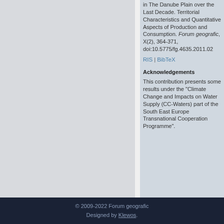in The Danube Plain over the Last Decade. Territorial Characteristics and Quantitative Aspects of Production and Consumption. Forum geografic, X(2), 364-371, doi:10.5775/fg.4635.2011.02
RIS | BibTeX
Acknowledgements
This contribution presents some results under the "Climate Change and Impacts on Water Supply (CC-Waters) part of the South East Europe Transnational Cooperation Programme".
© 2009-2022 Forum geografic
Designed by Klewos.